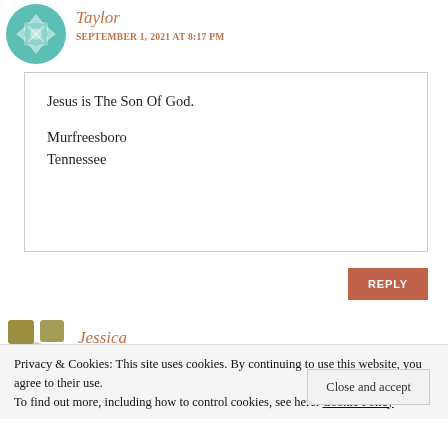Taylor
SEPTEMBER 1, 2021 AT 8:17 PM
Jesus is The Son Of God.

Murfreesboro
Tennessee
REPLY
Jessica
Privacy & Cookies: This site uses cookies. By continuing to use this website, you agree to their use.
To find out more, including how to control cookies, see here: Cookie Policy
Close and accept